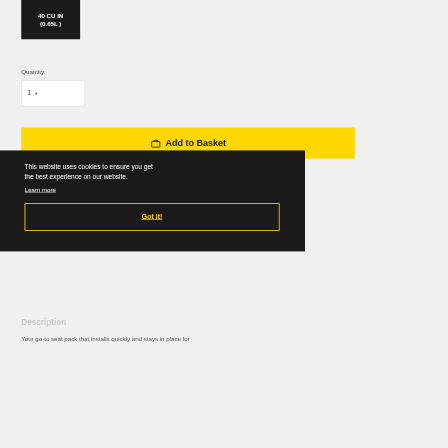[Figure (other): Black badge/label showing product volume: 40 CU IN (0.65L)]
Quantity:
[Figure (other): Quantity selector dropdown showing value 1 with dropdown arrow]
[Figure (other): Yellow 'Add to Basket' button with shopping basket icon]
This website uses cookies to ensure you get the best experience on our website.
Learn more
Got it!
Description
Your go-to seat pack that installs quickly and stays in place for